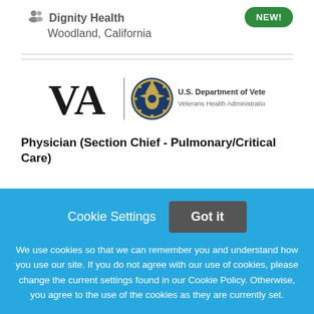Dignity Health
Woodland, California
NEW!
[Figure (logo): U.S. Department of Veterans Affairs / Veterans Health Administration logo with VA text, eagle seal, and organization name]
Physician (Section Chief - Pulmonary/Critical Care)
Cookie Settings   Got it
We use cookies so that we can remember you and understand how you use our site. If you do not agree with our use of cookies, please change the current settings found in our Cookie Policy. Otherwise, you agree to the use of the cookies as they are currently set.